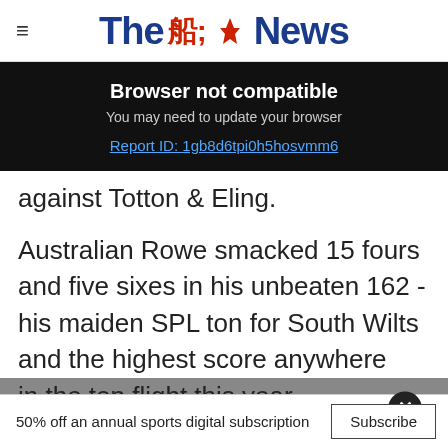The News
Browser not compatible
You may need to update your browser
Report ID: 1gb8d6tpi0h5hosvmm6
against Totton & Eling.
Australian Rowe smacked 15 fours and five sixes in his unbeaten 162 - his maiden SPL ton for South Wilts and the highest score anywhere in the top flight this year.
50% off an annual sports digital subscription   Subscribe